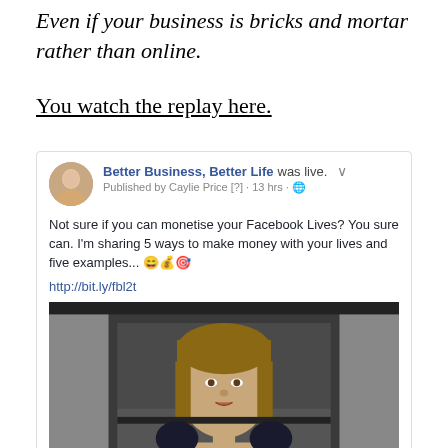Even if your business is bricks and mortar rather than online.
You watch the replay here.
[Figure (screenshot): Facebook post screenshot from 'Better Business, Better Life' page showing a live video post by Caylie Price, with text about monetising Facebook Lives and a video thumbnail of a woman speaking.]